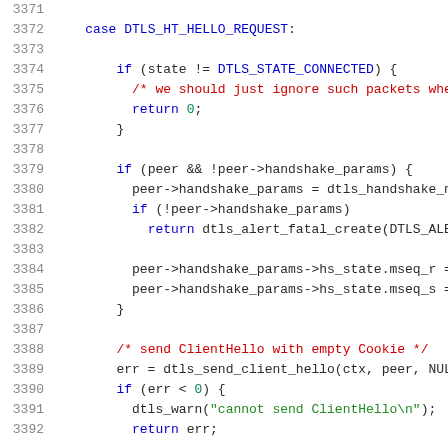[Figure (screenshot): Source code view showing C code lines 3371-3392 dealing with DTLS HelloRequest handling, including state checks, handshake parameter initialization, and sending ClientHello with empty Cookie.]